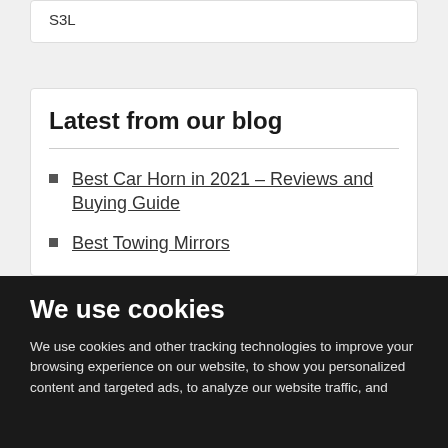S3L
Latest from our blog
Best Car Horn in 2021 – Reviews and Buying Guide
Best Towing Mirrors
We use cookies
We use cookies and other tracking technologies to improve your browsing experience on our website, to show you personalized content and targeted ads, to analyze our website traffic, and